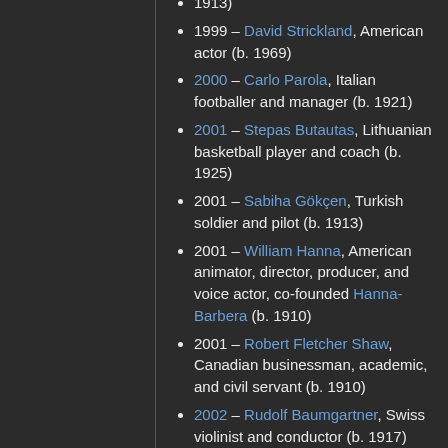1913)
1999 – David Strickland, American actor (b. 1969)
2000 – Carlo Parola, Italian footballer and manager (b. 1921)
2001 – Stepas Butautas, Lithuanian basketball player and coach (b. 1925)
2001 – Sabiha Gökçen, Turkish soldier and pilot (b. 1913)
2001 – William Hanna, American animator, director, producer, and voice actor, co-founded Hanna-Barbera (b. 1910)
2001 – Robert Fletcher Shaw, Canadian businessman, academic, and civil servant (b. 1910)
2002 – Rudolf Baumgartner, Swiss violinist and conductor (b. 1917)
2002 – Terry Lloyd, English journalist